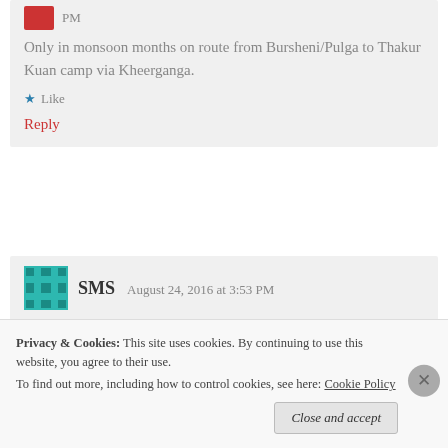PM
Only in monsoon months on route from Bursheni/Pulga to Thakur Kuan camp via Kheerganga.
Like
Reply
SMS  August 24, 2016 at 3:53 PM
Hi,
Privacy & Cookies:  This site uses cookies. By continuing to use this website, you agree to their use. To find out more, including how to control cookies, see here: Cookie Policy
Close and accept